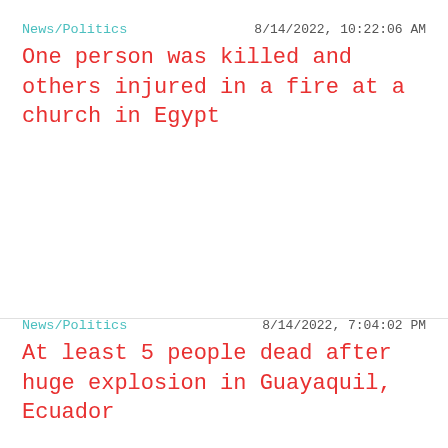News/Politics    8/14/2022, 10:22:06 AM
One person was killed and others injured in a fire at a church in Egypt
News/Politics    8/14/2022, 7:04:02 PM
At least 5 people dead after huge explosion in Guayaquil, Ecuador